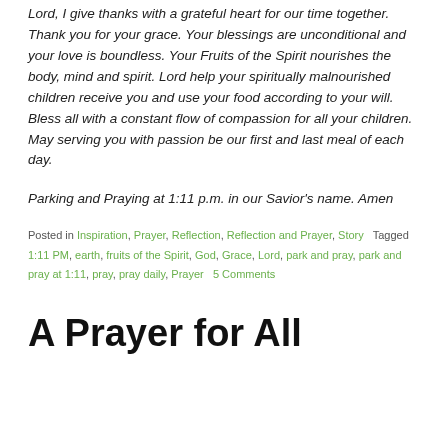Lord, I give thanks with a grateful heart for our time together. Thank you for your grace. Your blessings are unconditional and your love is boundless. Your Fruits of the Spirit nourishes the body, mind and spirit. Lord help your spiritually malnourished children receive you and use your food according to your will. Bless all with a constant flow of compassion for all your children. May serving you with passion be our first and last meal of each day.
Parking and Praying at 1:11 p.m. in our Savior's name. Amen
Posted in Inspiration, Prayer, Reflection, Reflection and Prayer, Story   Tagged 1:11 PM, earth, fruits of the Spirit, God, Grace, Lord, park and pray, park and pray at 1:11, pray, pray daily, Prayer   5 Comments
A Prayer for All